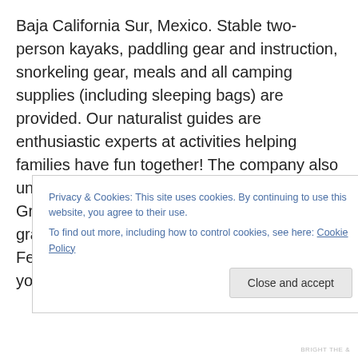Baja California Sur, Mexico. Stable two-person kayaks, paddling gear and instruction, snorkeling gear, meals and all camping supplies (including sleeping bags) are provided. Our naturalist guides are enthusiastic experts at activities helping families have fun together! The company also unveiled a new non-kayaking “Baja Family Gray Whale Base Camp” in Magdalena Bay gray whale sanctuary/calving ground in February and early March 2013, for kids as young as eight.
Privacy & Cookies: This site uses cookies. By continuing to use this website, you agree to their use.
To find out more, including how to control cookies, see here: Cookie Policy
Close and accept